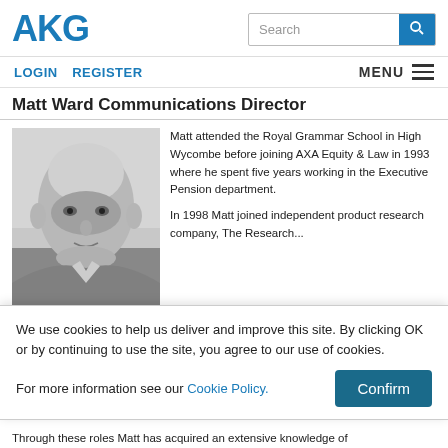AKG | Search bar
LOGIN  REGISTER  MENU
Matt Ward Communications Director
[Figure (photo): Black and white headshot photo of Matt Ward, a middle-aged bald man]
Matt attended the Royal Grammar School in High Wycombe before joining AXA Equity & Law in 1993 where he spent five years working in the Executive Pension department.

In 1998 Matt joined independent product research company, The Research...
We use cookies to help us deliver and improve this site. By clicking OK or by continuing to use the site, you agree to our use of cookies.

For more information see our Cookie Policy.
Through these roles Matt has acquired an extensive knowledge of